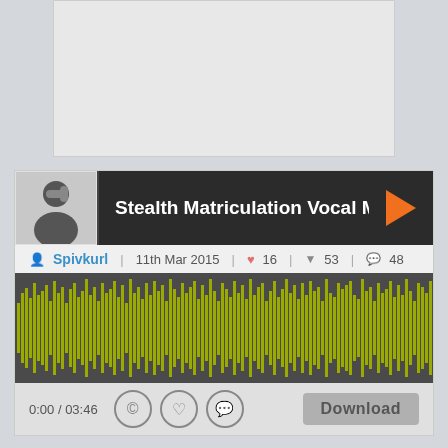[Figure (screenshot): Gray image placeholder at top]
[Figure (screenshot): Music player widget showing 'Stealth Matriculation Vocal Mix' by Spivkurl, 11th Mar 2015, 16 likes, 53 downloads, 48 comments, with waveform and controls showing 0:00 / 03:46, Download button]
Tags : | Electronic | 8.61 MB | Has Lyrics
Description : After a major uphill battle completing this song and turning it into what it is now, I feel some amount of satisfaction. It was like reality wanted me to give up or something. It's done... phew... Have updated this almost completely, from repatching the modular bass, playing some guitar parts, adding electric piano and synth lead, redoing and tuning the DW-6000 synth, of course adding my vocals, and mixing and mastering. It really has become pretty new wave, like